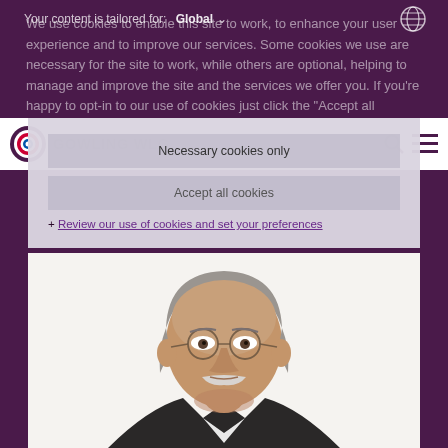Gowling WLG – Navigation bar with logo, search and menu icons
We use cookies to enable this site to work, to enhance your user experience and to improve our services. Some cookies we use are necessary for the site to work, while others are optional, helping to manage and improve the site and the services we offer you. If you're happy to opt-in to our use of cookies just click the "Accept all cookies" button.
Necessary cookies only
Accept all cookies
+ Review our use of cookies and set your preferences
[Figure (photo): Professional headshot of a middle-aged man with grey hair, round glasses, and a white mustache, wearing a dark suit, on a white background]